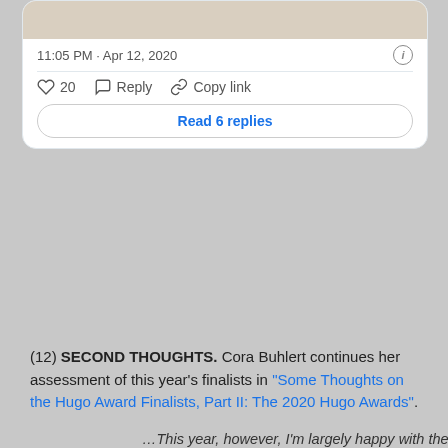[Figure (screenshot): Partial tweet card showing a beige/tan image placeholder at top, timestamp '11:05 PM · Apr 12, 2020', like/reply/copy link action bar with '20' likes, and a 'Read 6 replies' button.]
(12) SECOND THOUGHTS. Cora Buhlert continues her assessment of this year's finalists in "Some Thoughts on the Hugo Award Finalists, Part II: The 2020 Hugo Awards".
…This year, however, I'm largely happy with the Best Related Work finalists. Joanna Russ by Gwyneth Jones, The Lady from the Black Lagoon: Hollywood Monsters and the Lost Legacy of Milicent Patrick by Mallory O'Meara and The Pleasant Profession of Robert A. Heinlein, by Farah Mendlesohn are exactly the sort of finalists I want to see in this category. All three were also on my longlist, two of them were